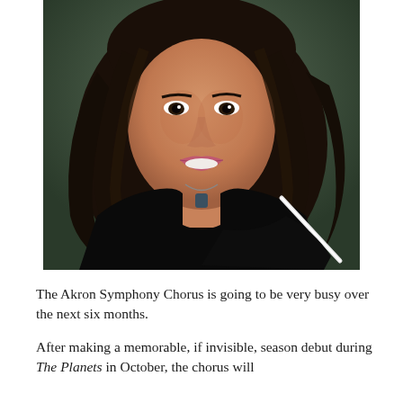[Figure (photo): Portrait photo of a woman with long dark hair, wearing a black outfit with a pendant necklace, holding what appears to be a conductor's baton. Dark green/grey background.]
The Akron Symphony Chorus is going to be very busy over the next six months.
After making a memorable, if invisible, season debut during The Planets in October, the chorus will